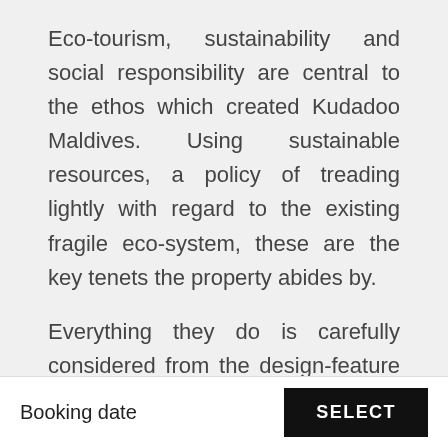Eco-tourism, sustainability and social responsibility are central to the ethos which created Kudadoo Maldives. Using sustainable resources, a policy of treading lightly with regard to the existing fragile eco-system, these are the key tenets the property abides by.
Everything they do is carefully considered from the design-feature solar panels which power the entire resort, to the sustainable building materials used to construct it (wood mainly from Canada, New Zealand and Indonesia, sustainably sourced and managed), to the amenities (the resort has partnered with Healing Ocean for environmentally
Booking date   SELECT